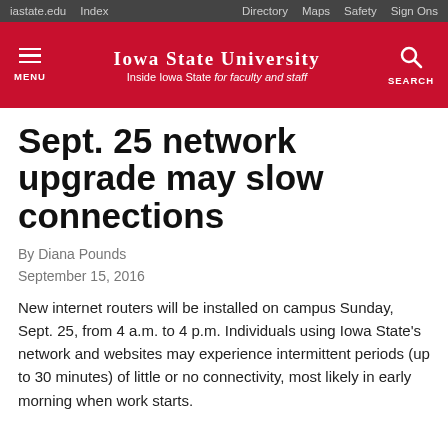iastate.edu   Index   Directory   Maps   Safety   Sign Ons
[Figure (other): Iowa State University website header with red background, hamburger menu icon on left, Iowa State University logo/title in center reading 'IOWA STATE UNIVERSITY Inside Iowa State for faculty and staff', and search icon on right]
Sept. 25 network upgrade may slow connections
By Diana Pounds
September 15, 2016
New internet routers will be installed on campus Sunday, Sept. 25, from 4 a.m. to 4 p.m. Individuals using Iowa State's network and websites may experience intermittent periods (up to 30 minutes) of little or no connectivity, most likely in early morning when work starts.